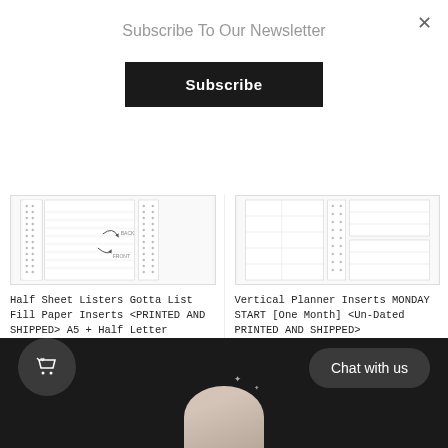Subscribe To Our Newsletter
Subscribe
[Figure (illustration): Product thumbnail: Half Sheet Listers Gotta List Fill Paper Inserts, showing ruled pages with dotted pattern]
Half Sheet Listers Gotta List Fill Paper Inserts <PRINTED AND SHIPPED> A5 + Half Letter
$4.00 USD
[Figure (illustration): Product thumbnail: Vertical Planner Inserts MONDAY START, showing grid layout pages with dotted pattern]
Vertical Planner Inserts MONDAY START [One Month] <Un-Dated PRINTED AND SHIPPED>
From $4.00 USD
[Figure (illustration): Bottom navigation bar with cart icon circle and Chat with us button, circular product image with sparkles]